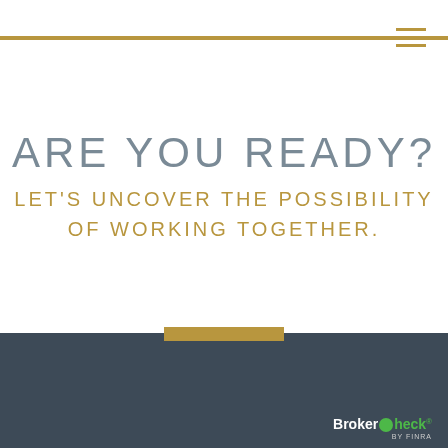ARE YOU READY?
LET'S UNCOVER THE POSSIBILITY OF WORKING TOGETHER.
ANTHONY POCHIRO
[Figure (logo): BrokerCheck logo with green circle checkmark and FINRA text]
BrokerCheck FINRA